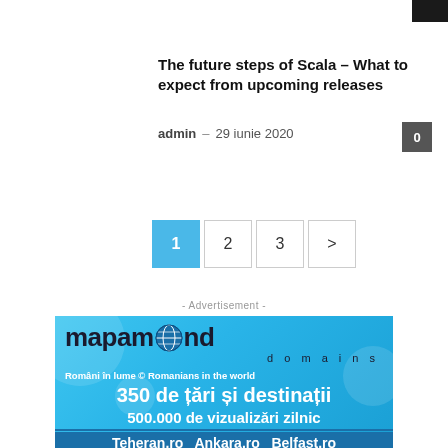The future steps of Scala – What to expect from upcoming releases
admin – 29 iunie 2020
0
1 2 3 >
- Advertisement -
[Figure (illustration): Mapamond Domains advertisement banner with blue gradient background, globe icon, text: 'mapamond domains', 'Români în lume © Romanians in the world', '350 de țări și destinații', '500.000 de vizualizări zilnic', 'Teheran.ro Ankara.ro Belfast.ro']